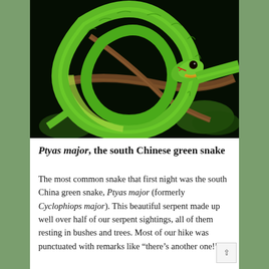[Figure (photo): Close-up photograph of a bright green snake (Ptyas major) coiled around a brown branch against a dark background, showing intricate scale patterns and yellowish markings near the head.]
Ptyas major, the south Chinese green snake
The most common snake that first night was the south China green snake, Ptyas major (formerly Cyclophiops major). This beautiful serpent made up well over half of our serpent sightings, all of them resting in bushes and trees. Most of our hike was punctuated with remarks like “there’s another one!”